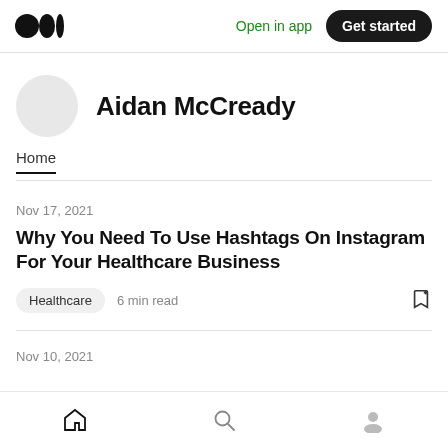Open in app  Get started
Aidan McCready
Home
Nov 17, 2021
Why You Need To Use Hashtags On Instagram For Your Healthcare Business
Healthcare  6 min read
Nov 10, 2021